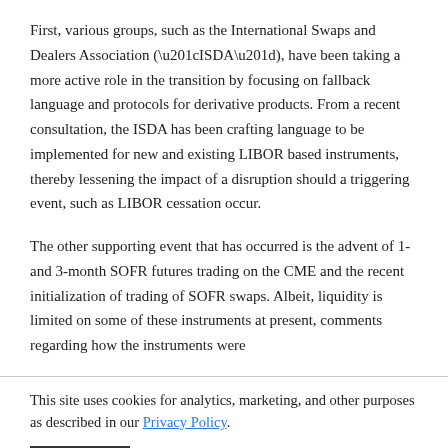First, various groups, such as the International Swaps and Dealers Association (“ISDA”), have been taking a more active role in the transition by focusing on fallback language and protocols for derivative products. From a recent consultation, the ISDA has been crafting language to be implemented for new and existing LIBOR based instruments, thereby lessening the impact of a disruption should a triggering event, such as LIBOR cessation occur.
The other supporting event that has occurred is the advent of 1- and 3-month SOFR futures trading on the CME and the recent initialization of trading of SOFR swaps. Albeit, liquidity is limited on some of these instruments at present, comments regarding how the instruments were
This site uses cookies for analytics, marketing, and other purposes as described in our Privacy Policy.
OK